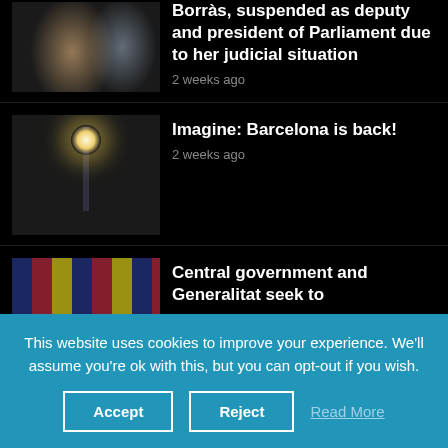[Figure (photo): Two people smiling and clapping, yellow ribbons visible]
Borràs, suspended as deputy and president of Parliament due to her judicial situation
2 weeks ago
[Figure (photo): Barcelona tower (Montjuïc Communications Tower) silhouetted against bright sun]
Imagine: Barcelona is back!
2 weeks ago
[Figure (photo): Meeting room with people seated around a table, Catalan and Spanish flags in background]
Central government and Generalitat seek to
This website uses cookies to improve your experience. We'll assume you're ok with this, but you can opt-out if you wish.
Accept   Reject   Read More